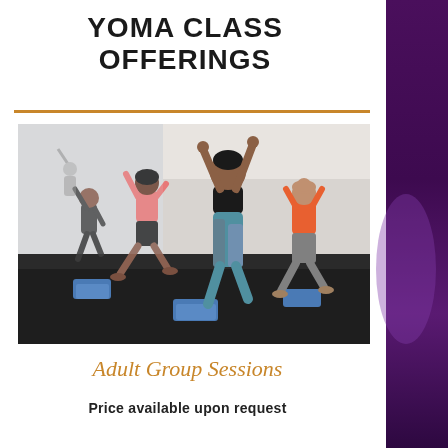YOMA CLASS OFFERINGS
[Figure (photo): Group yoga class in a studio with several participants performing a warrior pose with arms raised, yoga mats and blocks on a dark floor, mirror on the wall behind them.]
Adult Group Sessions
Price available upon request